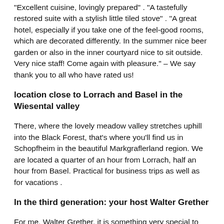"Excellent cuisine, lovingly prepared" . "A tastefully restored suite with a stylish little tiled stove" . "A great hotel, especially if you take one of the feel-good rooms, which are decorated differently. In the summer nice beer garden or also in the inner courtyard nice to sit outside. Very nice staff! Come again with pleasure." – We say thank you to all who have rated us!
location close to Lorrach and Basel in the Wiesental valley
There, where the lovely meadow valley stretches uphill into the Black Forest, that's where you'll find us in Schopfheim in the beautiful Markgraflerland region. We are located a quarter of an hour from Lorrach, half an hour from Basel. Practical for business trips as well as for vacations .
In the third generation: your host Walter Grether
For me, Walter Grether, it is something very special to preserve the heritage of our grandparents and to continue it in the 21st century. Continuing to shape the twentieth